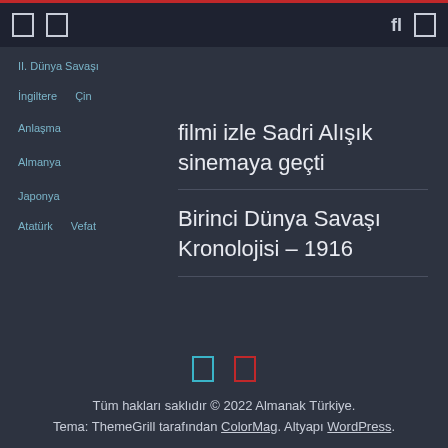Navigation bar with icons
II. Dünya Savaşı
İngiltere
Çin
Anlaşma
Almanya
Japonya
Atatürk
Vefat
filmi izle Sadri Alışık sinemaya geçti
Birinci Dünya Savaşı Kronolojisi – 1916
Tüm hakları saklıdır © 2022 Almanak Türkiye. Tema: ThemeGrill tarafından ColorMag. Altyapı WordPress.